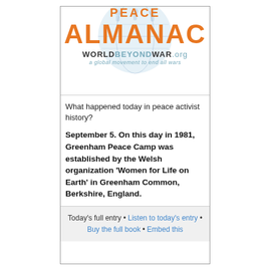[Figure (logo): Peace Almanac logo with orange bold text 'ALMANAC', 'PEACE' above partially visible, WorldBeyondWar.org branding and blue globe illustration in background]
What happened today in peace activist history?
September 5. On this day in 1981, Greenham Peace Camp was established by the Welsh organization 'Women for Life on Earth' in Greenham Common, Berkshire, England.
Today's full entry • Listen to today's entry • Buy the full book • Embed this